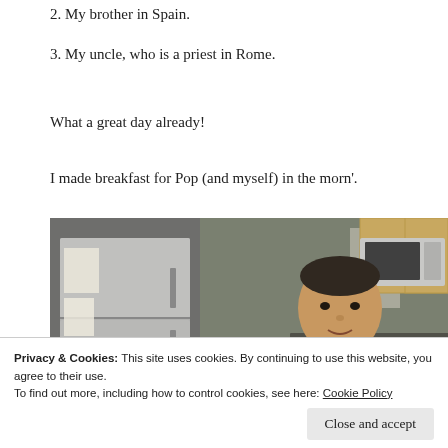2. My brother in Spain.
3. My uncle, who is a priest in Rome.
What a great day already!
I made breakfast for Pop (and myself) in the morn'.
[Figure (photo): A man standing in a kitchen smiling at the camera. Behind him are kitchen appliances including a stainless steel refrigerator, microwave, stove, and wooden cabinetry.]
Privacy & Cookies: This site uses cookies. By continuing to use this website, you agree to their use.
To find out more, including how to control cookies, see here: Cookie Policy
Close and accept